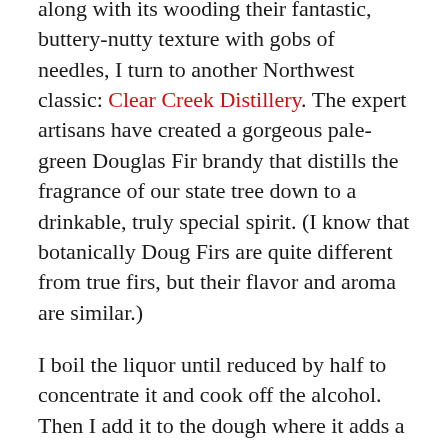along with its wooding their fantastic, buttery-nutty texture with gobs of needles, I turn to another Northwest classic: Clear Creek Distillery. The expert artisans have created a gorgeous pale-green Douglas Fir brandy that distills the fragrance of our state tree down to a drinkable, truly special spirit. (I know that botanically Doug Firs are quite different from true firs, but their flavor and aroma are similar.)
I boil the liquor until reduced by half to concentrate it and cook off the alcohol. Then I add it to the dough where it adds a delicate, evocative flavor that's almost more scent than taste. A winter hike, in cookie form.
The brandy isn't cheap, but I found a work-